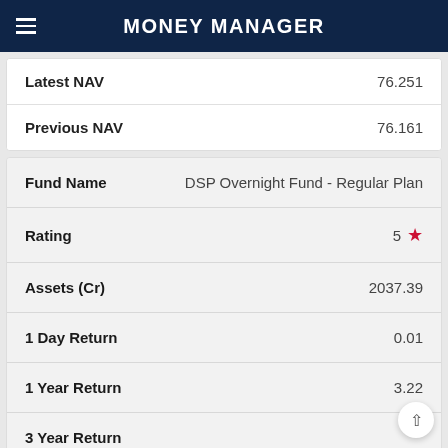Money Manager
| Label | Value |
| --- | --- |
| Latest NAV | 76.251 |
| Previous NAV | 76.161 |
| Label | Value |
| --- | --- |
| Fund Name | DSP Overnight Fund - Regular Plan |
| Rating | 5 ★ |
| Assets (Cr) | 2037.39 |
| 1 Day Return | 0.01 |
| 1 Year Return | 3.22 |
| 3 Year Return |  |